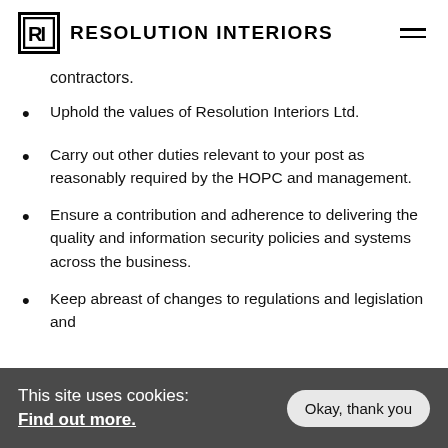RESOLUTION INTERIORS
contractors.
Uphold the values of Resolution Interiors Ltd.
Carry out other duties relevant to your post as reasonably required by the HOPC and management.
Ensure a contribution and adherence to delivering the quality and information security policies and systems across the business.
Keep abreast of changes to regulations and legislation and
This site uses cookies: Find out more. Okay, thank you